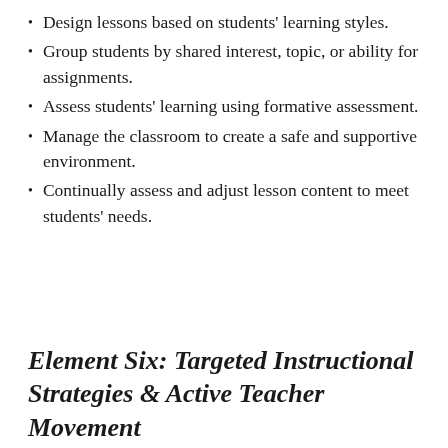Design lessons based on students' learning styles.
Group students by shared interest, topic, or ability for assignments.
Assess students' learning using formative assessment.
Manage the classroom to create a safe and supportive environment.
Continually assess and adjust lesson content to meet students' needs.
Element Six: Targeted Instructional Strategies & Active Teacher Movement